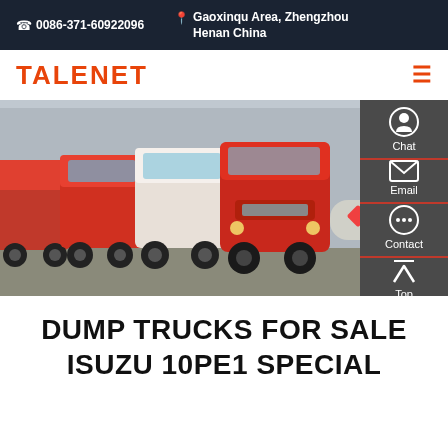0086-371-60922096 | Gaoxinqu Area, Zhengzhou Henan China
TALENET
[Figure (photo): Row of red heavy-duty trucks (Howo/Sinotruk style) parked in a lot, seen from the front-left angle. One white truck cab visible among the red ones. A tanker trailer visible on the right side.]
Chat
Email
Contact
Top
DUMP TRUCKS FOR SALE ISUZU 10PE1 SPECIAL